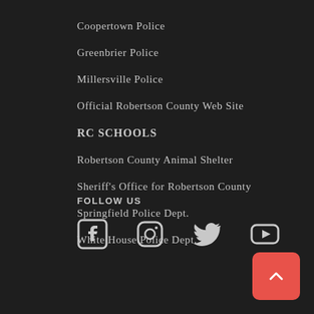Coopertown Police
Greenbrier Police
Millersville Police
Official Robertson County Web Site
RC SCHOOLS
Robertson County Animal Shelter
Sheriff's Office for Robertson County
Springfield Police Dept.
White House Police Dept.
FOLLOW US
[Figure (other): Social media icons: Facebook, Instagram, Twitter, YouTube]